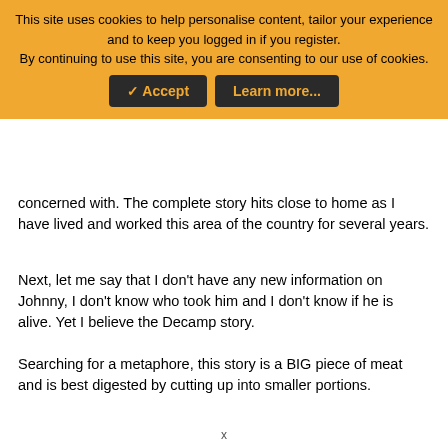This site uses cookies to help personalise content, tailor your experience and to keep you logged in if you register. By continuing to use this site, you are consenting to our use of cookies.
concerned with. The complete story hits close to home as I have lived and worked this area of the country for several years.
Next, let me say that I don't have any new information on Johnny, I don't know who took him and I don't know if he is alive. Yet I believe the Decamp story.
Searching for a metaphore, this story is a BIG piece of meat and is best digested by cutting up into smaller portions.
I am cautious to accept information that needs a line ahead of it saying that it is fact, especially when some of the info refers to the future.
x